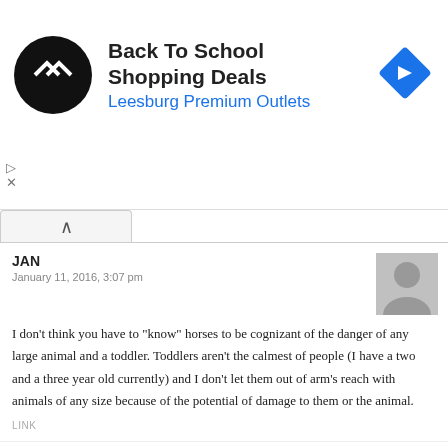[Figure (infographic): Advertisement banner: Back To School Shopping Deals at Leesburg Premium Outlets, with a circular black logo with arrows and a blue diamond arrow icon.]
JAN
January 11, 2016, 3:07 pm
I don’t think you have to “know” horses to be cognizant of the danger of any large animal and a toddler. Toddlers aren’t the calmest of people (I have a two and a three year old currently) and I don’t let them out of arm’s reach with animals of any size because of the potential of damage to them or the animal.
LINK
Amanda H.
January 11, 2016, 3:45 pm
I’m pretty sure they’re raspberries. The plants look right, and the berry